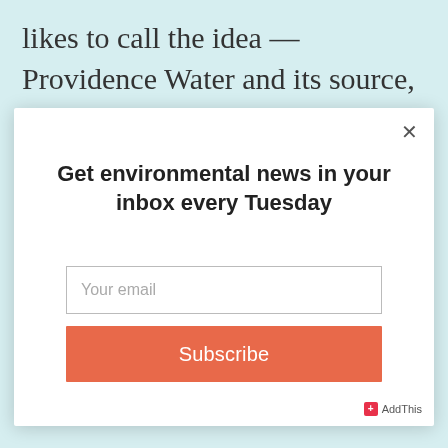likes to call the idea — Providence Water and its source, the Scituate Reservoir, would largely shift the
[Figure (screenshot): Modal popup with title 'Get environmental news in your inbox every Tuesday', an email input field with placeholder 'Your email', and a salmon/orange Subscribe button. A close (×) button appears in the top-right corner. AddThis badge in bottom-right.]